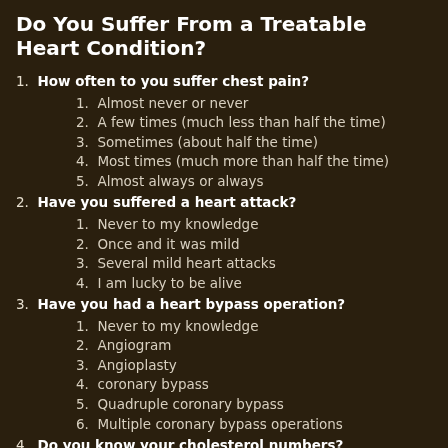Do You Suffer From a Treatable Heart Condition?
1. How often to you suffer chest pain?
1. Almost never or never
2. A few times (much less than half the time)
3. Sometimes (about half the time)
4. Most times (much more than half the time)
5. Almost always or always
2. Have you suffered a heart attack?
1. Never to my knowledge
2. Once and it was mild
3. Several mild heart attacks
4. I am lucky to be alive
3. Have you had a heart bypass operation?
1. Never to my knowledge
2. Angiogram
3. Angioplasty
4. coronary bypass
5. Quadruple coronary bypass
6. Multiple coronary bypass operations
4. Do you know your cholesterol numbers?
1. I do not know my cholestol and Lp(a) numbers.
2. Total Cholesterol less than 200 mg/dl and Lp(a) less tha
3. Total Cholesterol between 201 and 350 mg/dl and Lp(a)